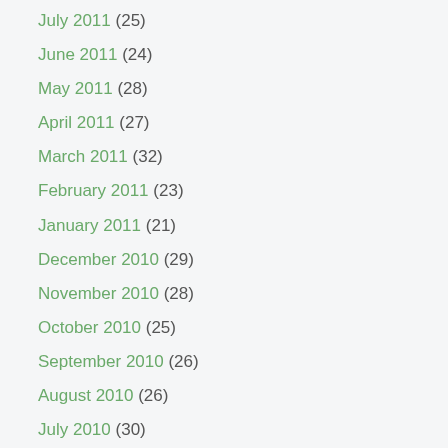July 2011 (25)
June 2011 (24)
May 2011 (28)
April 2011 (27)
March 2011 (32)
February 2011 (23)
January 2011 (21)
December 2010 (29)
November 2010 (28)
October 2010 (25)
September 2010 (26)
August 2010 (26)
July 2010 (30)
June 2010 (29)